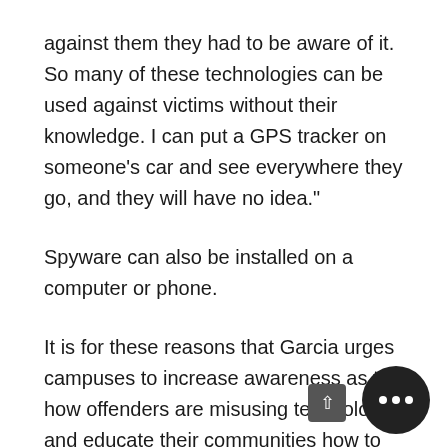against them they had to be aware of it. So many of these technologies can be used against victims without their knowledge. I can put a GPS tracker on someone's car and see everywhere they go, and they will have no idea."
Spyware can also be installed on a computer or phone.
It is for these reasons that Garcia urges campuses to increase awareness as to how offenders are misusing technology and educate their communities how to engage with that technology more safely. That means encouraging students,